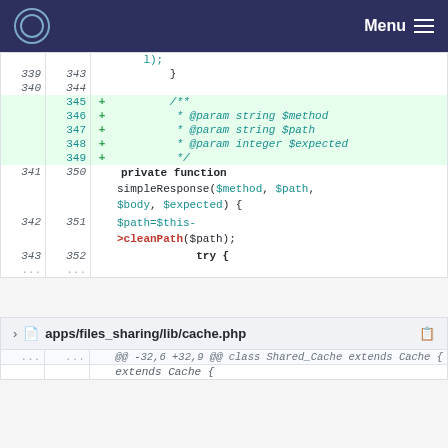Menu
Code diff showing lines 339-352 with added JSDoc comment block (/** @param string $method, @param string $path, @param integer $expected */) and private function simpleResponse($method, $path, $body, $expected) with $path=$this->cleanPath($path); and try {
apps/files_sharing/lib/cache.php file header
@@ -32,6 +32,9 @@ class Shared_Cache extends Cache {